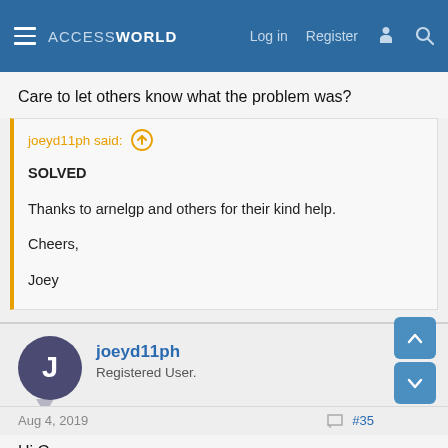ACCESSWORLD  Log in  Register
Care to let others know what the problem was?
joeyd11ph said:
SOLVED

Thanks to arnelgp and others for their kind help.

Cheers,

Joey
joeyd11ph
Registered User.
Aug 4, 2019
#35
Hi Gasman,